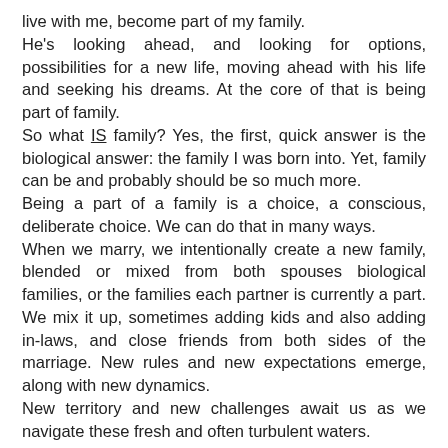live with me, become part of my family.
He's looking ahead, and looking for options, possibilities for a new life, moving ahead with his life and seeking his dreams. At the core of that is being part of family.
So what IS family? Yes, the first, quick answer is the biological answer: the family I was born into. Yet, family can be and probably should be so much more.
Being a part of a family is a choice, a conscious, deliberate choice. We can do that in many ways.
When we marry, we intentionally create a new family, blended or mixed from both spouses biological families, or the families each partner is currently a part. We mix it up, sometimes adding kids and also adding in-laws, and close friends from both sides of the marriage. New rules and new expectations emerge, along with new dynamics.
New territory and new challenges await us as we navigate these fresh and often turbulent waters.
What is it that this young man needs, what I need, in a family?
We made a list: love, respect, a place in which to belong, be